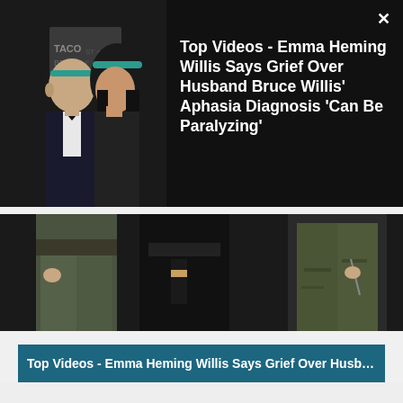[Figure (screenshot): A screenshot of a video player overlay. Top section: dark banner with photo of Bruce Willis in tuxedo with a woman at an event, and text headline. Middle: dark strip with partial image of people in green pants. Bottom: teal title bar with truncated video title. Light gray area below.]
Top Videos - Emma Heming Willis Says Grief Over Husband Bruce Willis' Aphasia Diagnosis 'Can Be Paralyzing'
Top Videos - Emma Heming Willis Says Grief Over Husband Br...